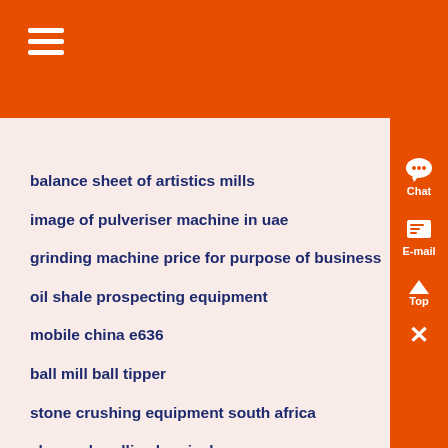balance sheet of artistics mills
image of pulveriser machine in uae
grinding machine price for purpose of business
oil shale prospecting equipment
mobile china e636
ball mill ball tipper
stone crushing equipment south africa
chancador allis chemical
crushers komplete for sale
sand washing equipment south africa